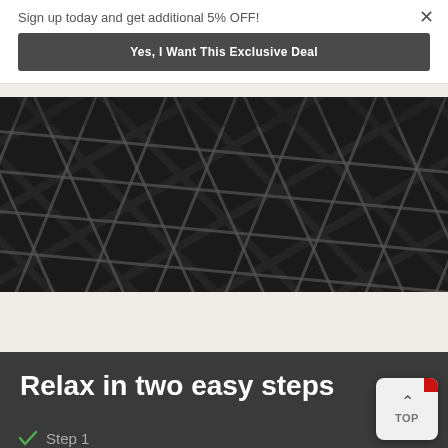Sign up today and get additional 5% OFF!
Yes, I Want This Exclusive Deal
[Figure (photo): Close-up photo of black quilted/grid-pattern fabric with white seams, photographed from an angle showing texture and depth.]
Relax in two easy steps
Step 1